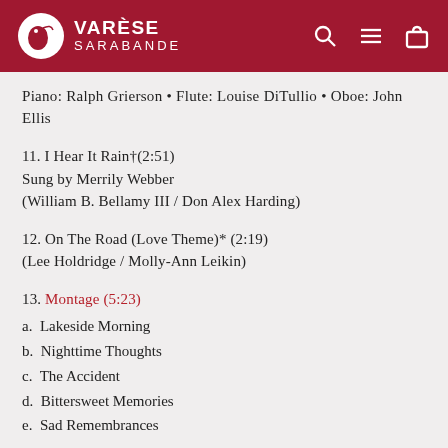VARÈSE SARABANDE
Piano: Ralph Grierson • Flute: Louise DiTullio • Oboe: John Ellis
11. I Hear It Rain†(2:51)
Sung by Merrily Webber
(William B. Bellamy III / Don Alex Harding)
12. On The Road (Love Theme)* (2:19)
(Lee Holdridge / Molly-Ann Leikin)
13. Montage (5:23)
a.  Lakeside Morning
b.  Nighttime Thoughts
c.  The Accident
d.  Bittersweet Memories
e.  Sad Remembrances